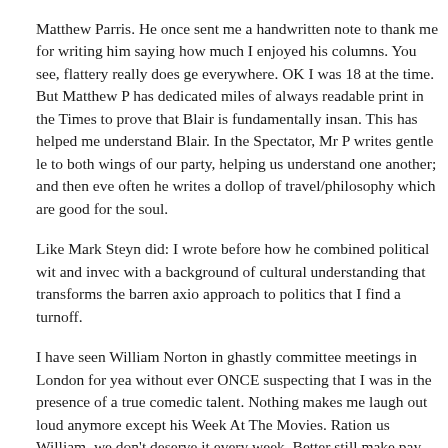Matthew Parris. He once sent me a handwritten note to thank me for writing him saying how much I enjoyed his columns. You see, flattery really does get everywhere. OK I was 18 at the time. But Matthew P has dedicated miles of always readable print in the Times to prove that Blair is fundamentally insan. This has helped me understand Blair. In the Spectator, Mr P writes gentle le to both wings of our party, helping us understand one another; and then eve often he writes a dollop of travel/philosophy which are good for the soul.
Like Mark Steyn did: I wrote before how he combined political wit and invec with a background of cultural understanding that transforms the barren axio approach to politics that I find a turnoff.
I have seen William Norton in ghastly committee meetings in London for yea without ever ONCE suspecting that I was in the presence of a true comedic talent. Nothing makes me laugh out loud anymore except his Week At The Movies. Ration us William, we don't deserve it every week. Better still make pay and use it to fund the Tower Hamlets campaigns.
Posted by: Graeme Archer | April 24, 2006 at 17:49
Charles Moore.
Incisive, lucid, entertaining - a perfect literary style, a dedicated Tory and ah